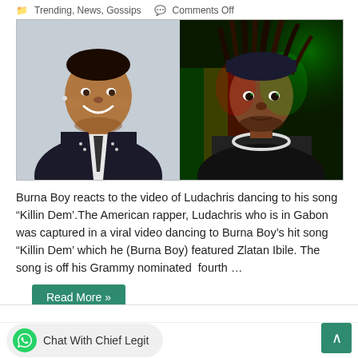Trending, News, Gossips  Comments Off
[Figure (photo): Side-by-side photos: left shows a smiling Black man in a dark suit with tie and patterned shirt; right shows a Black man with dreadlocks wearing a chain necklace under dramatic green/red lighting.]
Burna Boy reacts to the video of Ludachris dancing to his song “Killin Dem’.The American rapper, Ludachris who is in Gabon was captured in a viral video dancing to Burna Boy’s hit song “Killin Dem’ which he (Burna Boy) featured Zlatan Ibile. The song is off his Grammy nominated  fourth …
Read More »
Chat With Chief Legit
∧